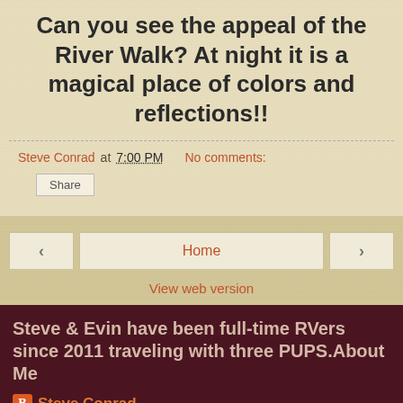Can you see the appeal of the River Walk? At night it is a magical place of colors and reflections!!
Steve Conrad at 7:00 PM   No comments:
Share
‹   Home   ›
View web version
Steve & Evin have been full-time RVers since 2011 traveling with three PUPS.About Me
Steve Conrad
View my complete profile
Powered by Blogger.